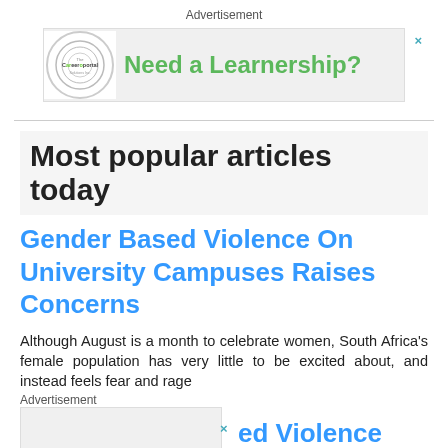Advertisement
[Figure (other): Advertisement banner for Careerportal showing 'Need a Learnership?' text in green on a grey background with a circular logo]
Most popular articles today
Gender Based Violence On University Campuses Raises Concerns
Although August is a month to celebrate women, South Africa's female population has very little to be excited about, and instead feels fear and rage
Advertisement